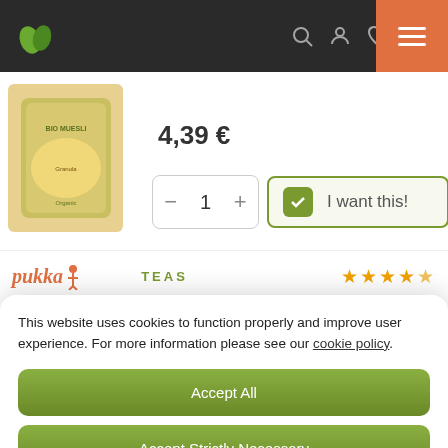[Figure (screenshot): Website navigation bar with dark background, green leaf logo on left, icons (search, user, heart, cart) in center-right, and orange hamburger menu button on far right]
[Figure (photo): Product image of a food package (granola/muesli) with yellow/oat color background]
4,39 €
[Figure (screenshot): Quantity selector showing minus, 1, plus buttons and 'I want this!' button with green checkbox]
[Figure (logo): Pukka brand logo in orange italic with figure, TEAS text in green, and 4.5 star rating in orange stars]
This website uses cookies to function properly and improve user experience. For more information please see our cookie policy.
Accept All
Accept Strictly Necessary
Settings